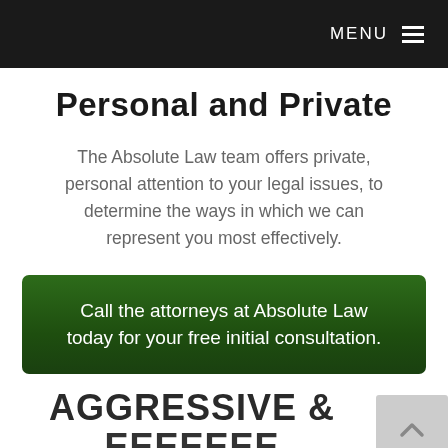MENU
Personal and Private
The Absolute Law team offers private, personal attention to your legal issues, to determine the ways in which we can represent you most effectively.
Call the attorneys at Absolute Law today for your free initial consultation.
AGGRESSIVE &